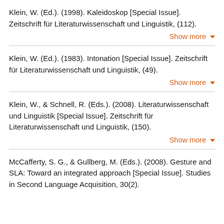Klein, W. (Ed.). (1998). Kaleidoskop [Special Issue]. Zeitschrift für Literaturwissenschaft und Linguistik, (112).
Klein, W. (Ed.). (1983). Intonation [Special Issue]. Zeitschrift für Literaturwissenschaft und Linguistik, (49).
Klein, W., & Schnell, R. (Eds.). (2008). Literaturwissenschaft und Linguistik [Special Issue]. Zeitschrift für Literaturwissenschaft und Linguistik, (150).
McCafferty, S. G., & Gullberg, M. (Eds.). (2008). Gesture and SLA: Toward an integrated approach [Special Issue]. Studies in Second Language Acquisition, 30(2).